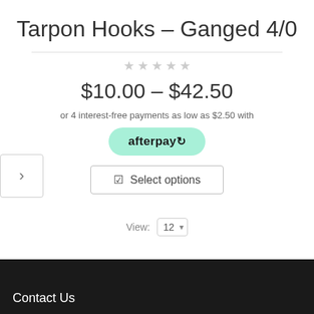Tarpon Hooks – Ganged 4/0
$10.00 – $42.50
or 4 interest-free payments as low as $2.50 with
[Figure (logo): Afterpay logo button in mint green rounded rectangle]
Select options
View: 12
Contact Us